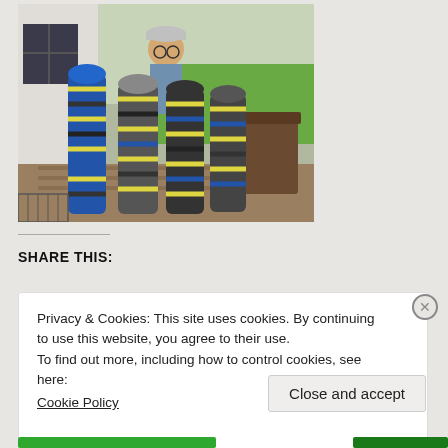[Figure (photo): Person standing on a porch or deck surrounded by several large rolled/bundled items with yellow, blue, black, and white patterns (possibly rope mats or woven items). The person is wearing a baseball cap and glasses. Background shows a house exterior and green lawn.]
SHARE THIS:
Privacy & Cookies: This site uses cookies. By continuing to use this website, you agree to their use.
To find out more, including how to control cookies, see here:
Cookie Policy
Close and accept